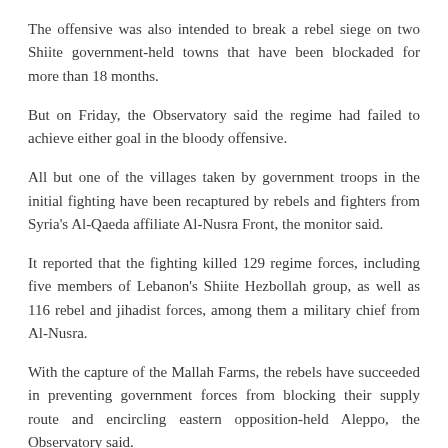The offensive was also intended to break a rebel siege on two Shiite government-held towns that have been blockaded for more than 18 months.
But on Friday, the Observatory said the regime had failed to achieve either goal in the bloody offensive.
All but one of the villages taken by government troops in the initial fighting have been recaptured by rebels and fighters from Syria's Al-Qaeda affiliate Al-Nusra Front, the monitor said.
It reported that the fighting killed 129 regime forces, including five members of Lebanon's Shiite Hezbollah group, as well as 116 rebel and jihadist forces, among them a military chief from Al-Nusra.
With the capture of the Mallah Farms, the rebels have succeeded in preventing government forces from blocking their supply route and encircling eastern opposition-held Aleppo, the Observatory said.